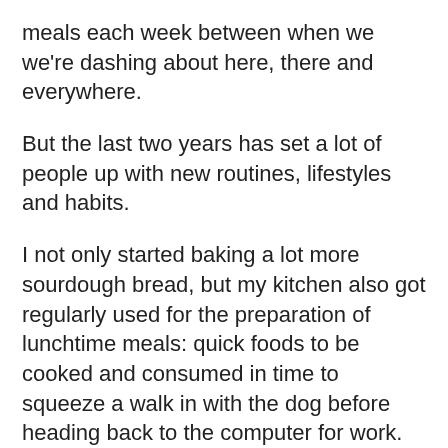meals each week between when we we're dashing about here, there and everywhere.
But the last two years has set a lot of people up with new routines, lifestyles and habits.
I not only started baking a lot more sourdough bread, but my kitchen also got regularly used for the preparation of lunchtime meals: quick foods to be cooked and consumed in time to squeeze a walk in with the dog before heading back to the computer for work.
It's probably not surprising then that I started making a lot of sourdough grilled cheese sandwiches. Quick, easy and filling.